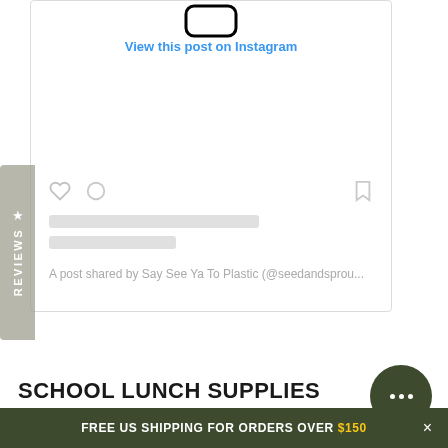[Figure (screenshot): Instagram embed card showing 'View this post on Instagram' link, action icons (heart, comment, bookmark), loading placeholder bars, and attribution text 'A post shared by Say See Ya To Plastic (@seedandsprou...']
View this post on Instagram
A post shared by Say See Ya To Plastic (@seedandsprou...
REVIEWS
SCHOOL LUNCH SUPPLIES
FREE US SHIPPING FOR ORDERS OVER $150